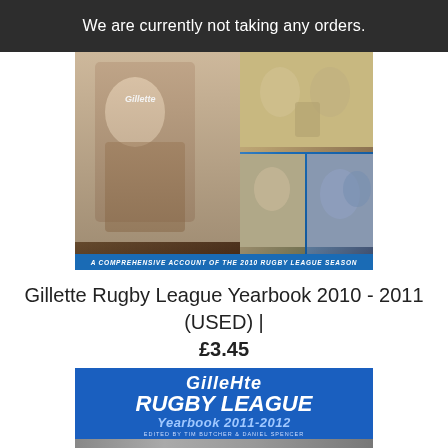We are currently not taking any orders.
[Figure (photo): Cover of Gillette Rugby League Yearbook 2010-2011 showing rugby players and trophy photos with blue background and text 'A COMPREHENSIVE ACCOUNT OF THE 2010 RUGBY LEAGUE SEASON']
Gillette Rugby League Yearbook 2010 - 2011 (USED) | £3.45
[Figure (photo): Cover of Gillette Rugby League Yearbook 2011-2012 with blue background showing 'Gillette RUGBY LEAGUE Yearbook 2011-2012 EDITED BY TIM BUTCHER & DANIEL SPENCER' with players at the bottom]